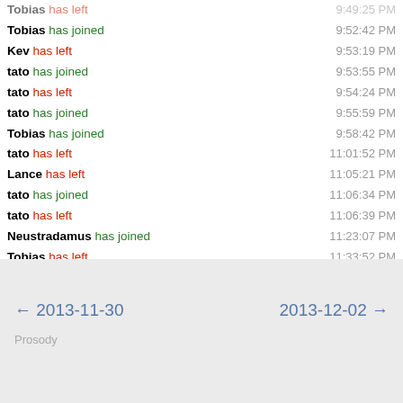Tobias has left — 9:49:25 PM
Tobias has joined — 9:52:42 PM
Kev has left — 9:53:19 PM
tato has joined — 9:53:55 PM
tato has left — 9:54:24 PM
tato has joined — 9:55:59 PM
Tobias has joined — 9:58:42 PM
tato has left — 11:01:52 PM
Lance has left — 11:05:21 PM
tato has joined — 11:06:34 PM
tato has left — 11:06:39 PM
Neustradamus has joined — 11:23:07 PM
Tobias has left — 11:33:52 PM
Tobias has joined — 11:41:47 PM
Lance has joined — 11:53:53 PM
← 2013-11-30   2013-12-02 →   Prosody